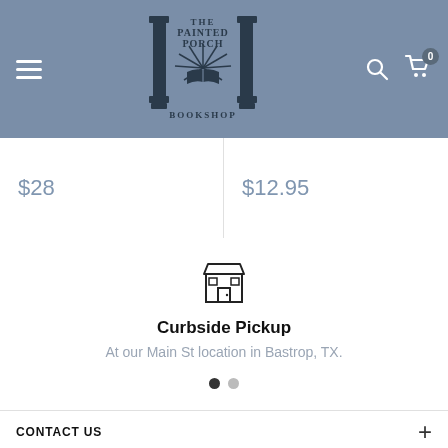[Figure (logo): The Painted Porch Bookshop logo with two pillars and an open book with rays, text 'THE PAINTED PORCH BOOKSHOP']
$28
$12.95
[Figure (illustration): Store/shop front icon outline]
Curbside Pickup
At our Main St location in Bastrop, TX.
CONTACT US